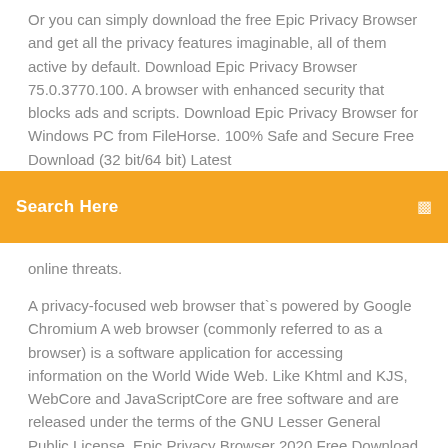Or you can simply download the free Epic Privacy Browser and get all the privacy features imaginable, all of them active by default. Download Epic Privacy Browser 75.0.3770.100. A browser with enhanced security that blocks ads and scripts. Download Epic Privacy Browser for Windows PC from FileHorse. 100% Safe and Secure Free Download (32 bit/64 bit) Latest
[Figure (screenshot): Orange search bar UI element with 'Search Here' placeholder text and a small search icon on the right]
online threats.
A privacy-focused web browser that`s powered by Google Chromium A web browser (commonly referred to as a browser) is a software application for accessing information on the World Wide Web. Like Khtml and KJS, WebCore and JavaScriptCore are free software and are released under the terms of the GNU Lesser General Public License. Epic Privacy Browser 2020 Free Download for Windows PC Epic Privacy Browser 2020 Free